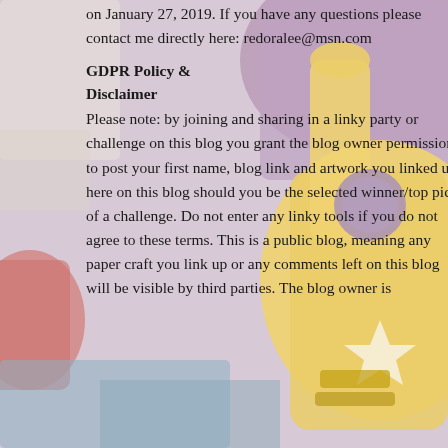[Figure (illustration): Background photo of colorful craft punch tools — yellow, purple, and red paper punches against a blurred background]
on January 27, 2019. If you have any questions please contact me directly here: redoralee@msn.com
GDPR Policy & Disclaimer
Please note: by joining and sharing in a linky party or challenge on this blog you grant the blog owner permission to post your first name, blog link and artwork you linked up here on this blog should you be the selected winner/top pick of a challenge. Do not enter any linky tools if you do not agree to these terms. This is a public blog, meaning any paper craft you link up or any comments left on this blog will be visible by third parties. The blog owner is